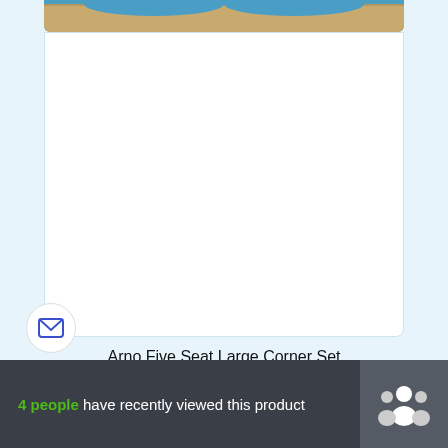[Figure (photo): Top portion of a product card showing a furniture item (partially visible) against a light blue background]
[Figure (photo): White product card area (mostly blank/white) as part of product listing]
Arno Five Seat Large Corner Set
£1,459.00
[Figure (photo): Second product card showing a blue corner sofa/couch set on a light blue background]
4 people have recently viewed this product